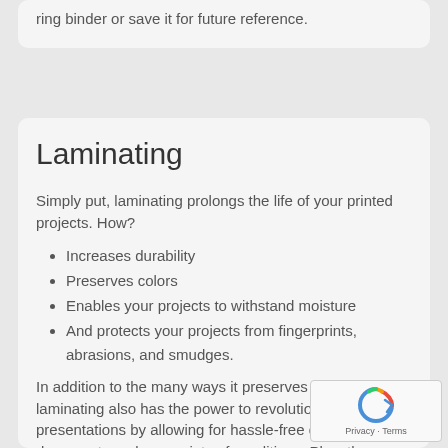ring binder or save it for future reference.
Laminating
Simply put, laminating prolongs the life of your printed projects. How?
Increases durability
Preserves colors
Enables your projects to withstand moisture
And protects your projects from fingerprints, abrasions, and smudges.
In addition to the many ways it preserves your projects, laminating also has the power to revolutionize your presentations by allowing for hassle-free display of your documents under a variety of conditions. Plus, the glossy